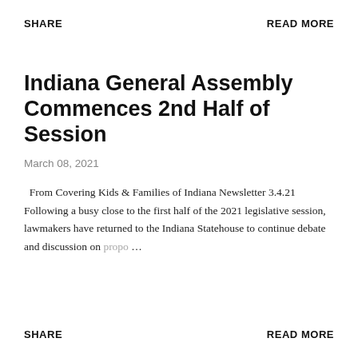SHARE    READ MORE
Indiana General Assembly Commences 2nd Half of Session
March 08, 2021
From Covering Kids & Families of Indiana Newsletter 3.4.21 Following a busy close to the first half of the 2021 legislative session, lawmakers have returned to the Indiana Statehouse to continue debate and discussion on propo…
SHARE    READ MORE